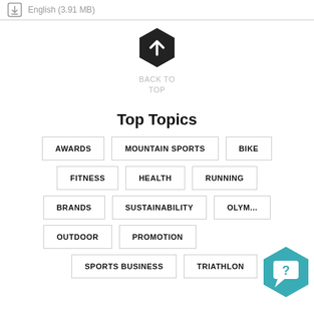English (3.91 MB)
[Figure (illustration): Hexagonal back to top button with upward arrow icon]
BACK TO TOP
Top Topics
AWARDS
MOUNTAIN SPORTS
BIKE
FITNESS
HEALTH
RUNNING
BRANDS
SUSTAINABILITY
OLYMP...
OUTDOOR
PROMOTION
SPORTS BUSINESS
TRIATHLON
[Figure (illustration): Teal hexagonal chat/help button with question mark icon]